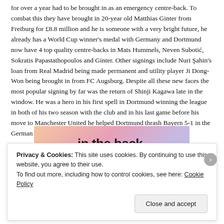for over a year had to be brought in as an emergency centre-back. To combat this they have brought in 20-year old Matthias Ginter from Freiburg for £8.8 million and he is someone with a very bright future, he already has a World Cup winner's medal with Germany and Dortmund now have 4 top quality centre-backs in Mats Hummels, Neven Subotić, Sokratis Papastathopoulos and Ginter. Other signings include Nuri Şahin's loan from Real Madrid being made permanent and utility player Ji Dong-Won being brought in from FC Augsburg. Despite all these new faces the most popular signing by far was the return of Shinji Kagawa late in the window. He was a hero in his first spell in Dortmund winning the league in both of his two season with the club and in his last game before his move to Manchester United he helped Dortmund thrash Bayern 5-1 in the German Cup Final.
[Figure (other): Advertisement banner with colorful gradient background showing text 'in the back.' and a logo with a button]
Privacy & Cookies: This site uses cookies. By continuing to use this website, you agree to their use.
To find out more, including how to control cookies, see here: Cookie Policy
Close and accept